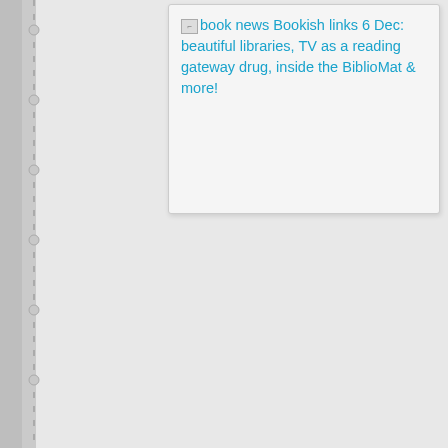[Figure (screenshot): White card box containing a broken image icon and a blue hyperlink text: 'book news Bookish links 6 Dec: beautiful libraries, TV as a reading gateway drug, inside the BiblioMat & more!']
RIASS stuff:
Review: Nikki and the Lone Wolf/Mardie and the City Surgeon
★★☆☆☆ (2 stars out of 5)
Starting over: thoughts on rebuilding my book collection from scratch. A post on 'clearing out my bookshelves.'
Giveaway: House at the End of the Street by Lily Blake (Aus o…
I'm this week's 'featured blogger over at Beauty and Lace. If y… talking about myself, do swing by!
Other bookish stuff:
Another imprint announcement, this time the unfortunately…